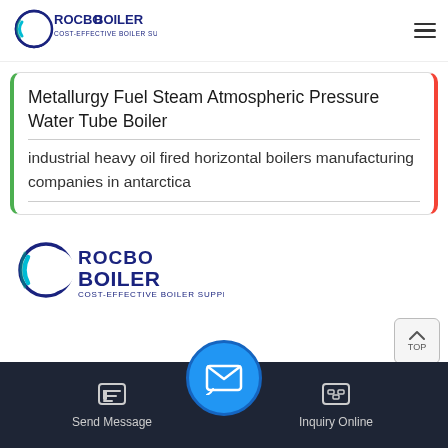[Figure (logo): Rocbo Boiler logo with crescent and text, header]
Metallurgy Fuel Steam Atmospheric Pressure Water Tube Boiler
industrial heavy oil fired horizontal boilers manufacturing companies in antarctica
[Figure (logo): Rocbo Boiler logo — Cost-Effective Boiler Supplier, footer]
Send Message   Inquiry Online